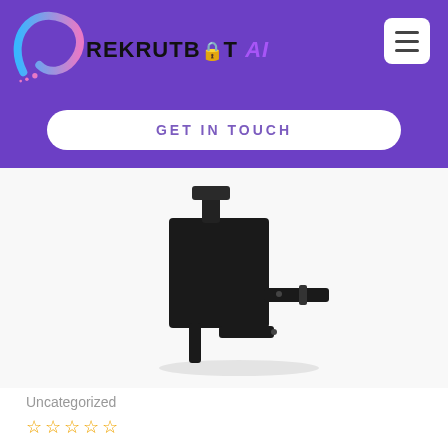REKRUTBOT AI — navigation header with logo and hamburger menu
GET IN TOUCH
[Figure (photo): Black metal mechanical device or clamp-like product on white background]
Uncategorized
Star rating: 0 out of 5 stars (5 empty stars shown)